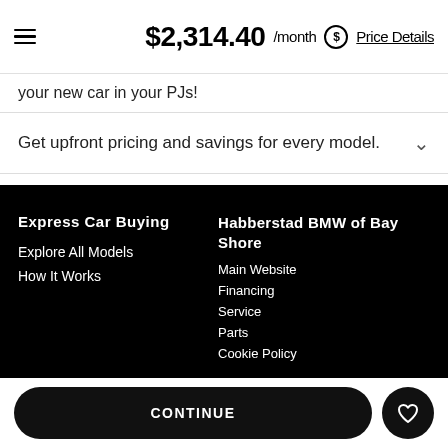$2,314.40 /month Price Details
your new car in your PJs!
Get upfront pricing and savings for every model.
Express Car Buying
Explore All Models
How It Works
Habberstad BMW of Bay Shore
Main Website
Financing
Service
Parts
Cookie Policy
CONTINUE